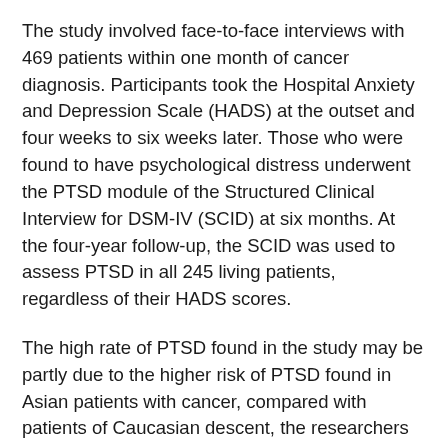The study involved face-to-face interviews with 469 patients within one month of cancer diagnosis. Participants took the Hospital Anxiety and Depression Scale (HADS) at the outset and four weeks to six weeks later. Those who were found to have psychological distress underwent the PTSD module of the Structured Clinical Interview for DSM-IV (SCID) at six months. At the four-year follow-up, the SCID was used to assess PTSD in all 245 living patients, regardless of their HADS scores.
The high rate of PTSD found in the study may be partly due to the higher risk of PTSD found in Asian patients with cancer, compared with patients of Caucasian descent, the researchers wrote. The researchers also included so-called “subsyndromal” PTSD cases: patients whose symptoms lasted less than one month or who did not meet the threshold for a DSM-IV diagnosis despite the presence of multiple symptoms.
The study also found that patients with breast cancer were 3.68 times less likely to have PTSD at the six-month follow-